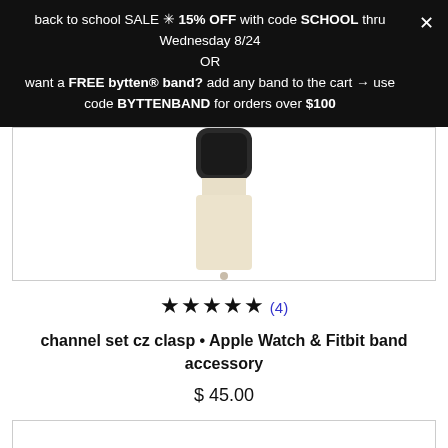back to school SALE ✳ 15% OFF with code SCHOOL thru Wednesday 8/24
OR
want a FREE bytten® band? add any band to the cart → use code BYTTENBAND for orders over $100
[Figure (photo): Apple Watch with a cream/white sport band, showing the bottom portion of the watch case and band clasp area against a white background]
★★★★★ (4)
channel set cz clasp • Apple Watch & Fitbit band accessory
$ 45.00